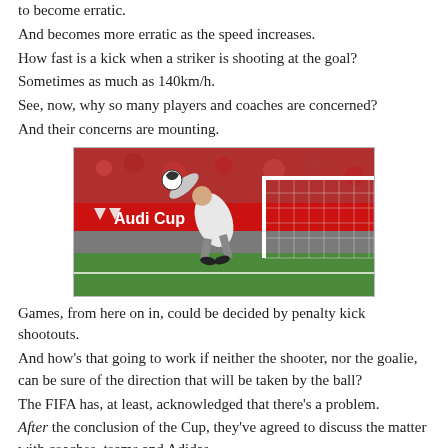to become erratic. And becomes more erratic as the speed increases. How fast is a kick when a striker is shooting at the goal? Sometimes as much as 140km/h. See, now, why so many players and coaches are concerned? And their concerns are mounting.
[Figure (photo): A goalkeeper diving to save a ball in front of a goal net, with an 'Audi Cup' advertising banner visible in the background and a red-filled stadium crowd.]
Games, from here on in, could be decided by penalty kick shootouts. And how's that going to work if neither the shooter, nor the goalie, can be sure of the direction that will be taken by the ball? The FIFA has, at least, acknowledged that there's a problem. After the conclusion of the Cup, they've agreed to discuss the matter with coaches, teams and Adidas.